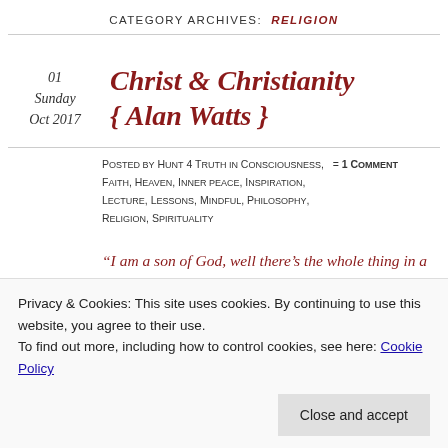CATEGORY ARCHIVES: RELIGION
01
Sunday
Oct 2017
Christ & Christianity { Alan Watts }
Posted by Hunt 4 Truth in Consciousness, Faith, Heaven, Inner peace, Inspiration, Lecture, Lessons, Mindful, Philosophy, Religion, Spirituality = 1 Comment
“I am a son of God, well there’s the whole thing in a nutshell.”
Privacy & Cookies: This site uses cookies. By continuing to use this website, you agree to their use.
To find out more, including how to control cookies, see here: Cookie Policy
Close and accept